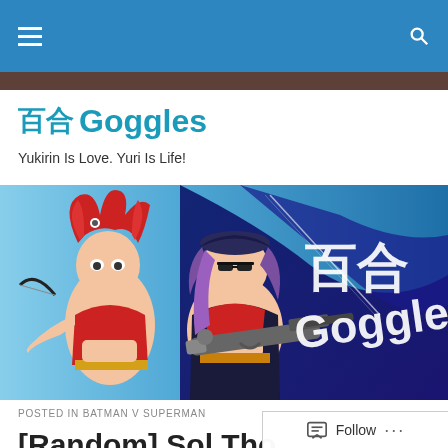Navigation bar with menu and search icons
百合 Goggles
Yukirin Is Love. Yuri Is Life!
[Figure (illustration): Anime banner image showing two female characters with weapons — one with red hair, one with purple hair — against a blue background. Text overlay reads '百合 Goggles' in white.]
POSTED IN BATMAN V SUPERMAN
[Random] Sol Tho...